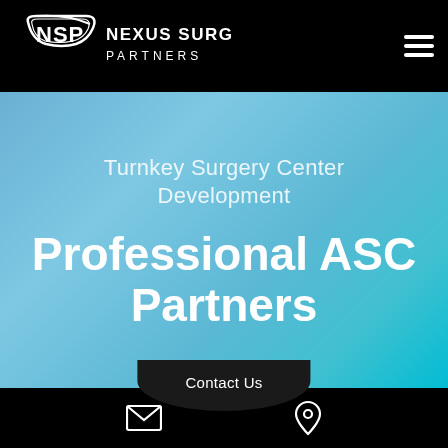[Figure (logo): Nexus Surgical Partners logo — NSP shield/swoosh mark in white on black background with text NEXUS SURGICAL PARTNERS]
Turnkey Surgery Center Development
Professional ASC Partners
Contact Us
Email icon and Location pin icon